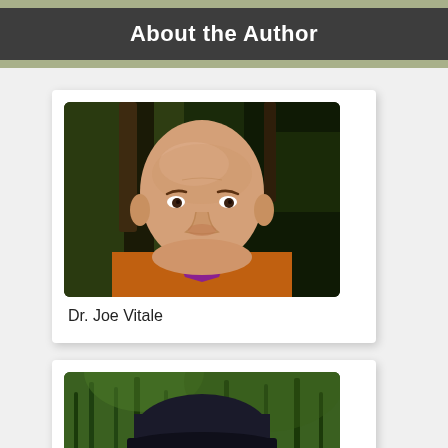About the Author
[Figure (photo): Headshot of Dr. Joe Vitale, a bald man smiling, wearing an orange jacket and purple shirt, with trees in the background.]
Dr. Joe Vitale
[Figure (photo): Partial photo of a second author wearing a dark baseball cap, with green foliage in the background.]